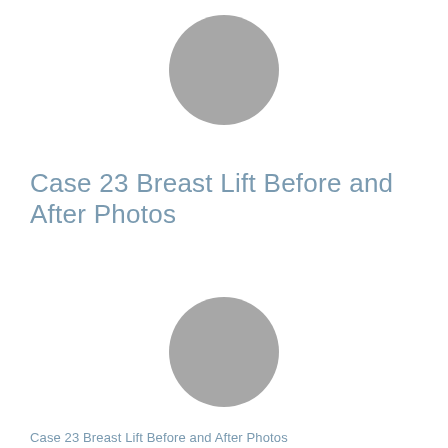[Figure (photo): Gray circle placeholder image representing a before or after breast lift photo, positioned near the top center of the page]
Case 23 Breast Lift Before and After Photos
[Figure (photo): Gray circle placeholder image representing a before or after breast lift photo, positioned in the lower center of the page]
Case 23 Breast Lift Before and After Photos